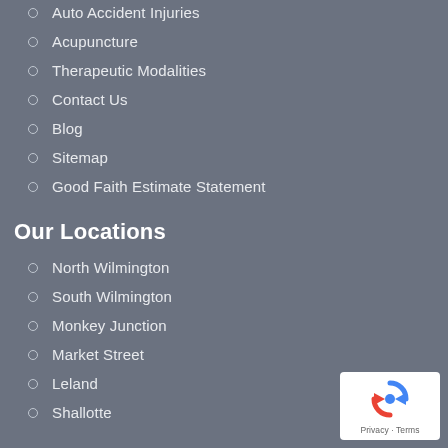Auto Accident Injuries
Acupuncture
Therapeutic Modalities
Contact Us
Blog
Sitemap
Good Faith Estimate Statement
Our Locations
North Wilmington
South Wilmington
Monkey Junction
Market Street
Leland
Shallotte
[Figure (logo): Google reCAPTCHA badge with recycle-arrow icon and Privacy - Terms text]